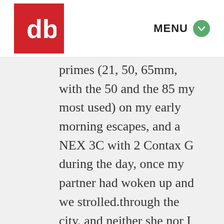db | MENU
primes (21, 50, 65mm, with the 50 and the 85 my most used) on my early morning escapes, and a NEX 3C with 2 Contax G during the day, once my partner had woken up and we strolled.through the city, and neither she nor I were burdened with too much gear. Here are a few NEX pics during the day. One of the sea, because Istanbul without the sea is just not complete, and two of old, dilapidated houses wich are like an